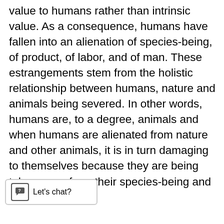value to humans rather than intrinsic value. As a consequence, humans have fallen into an alienation of species-being, of product, of labor, and of man. These estrangements stem from the holistic relationship between humans, nature and animals being severed. In other words, humans are, to a degree, animals and when humans are alienated from nature and other animals, it is in turn damaging to themselves because they are being taken away from their species-being and natural character.

With that being said, it is clear that under [capitalism,] animals exist within social relations [and] produce products of their own labor. Therefore, both animals and humans can be alienated from their labor, the products of